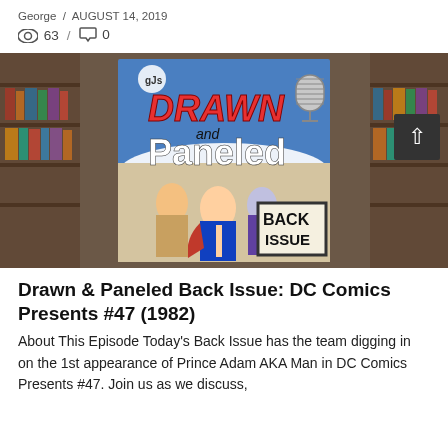George / AUGUST 14, 2019
👁 63 / 💬 0
[Figure (photo): Drawn and Paneled Back Issue magazine cover featuring Superman and He-Man characters, with a vintage microphone graphic, against a blurred comic book store shelf background.]
Drawn & Paneled Back Issue: DC Comics Presents #47 (1982)
About This Episode Today's Back Issue has the team digging in on the 1st appearance of Prince Adam AKA Man in DC Comics Presents #47. Join us as we discuss,